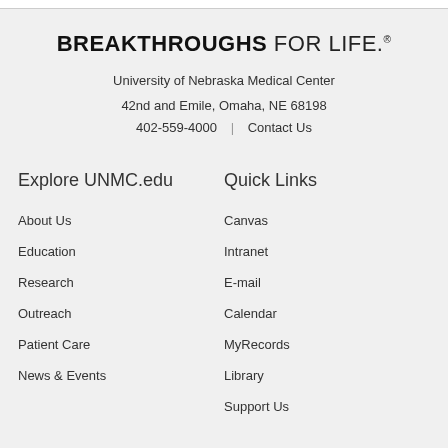BREAKTHROUGHS FOR LIFE.®
University of Nebraska Medical Center
42nd and Emile, Omaha, NE 68198
402-559-4000  |  Contact Us
Explore UNMC.edu
About Us
Education
Research
Outreach
Patient Care
News & Events
Quick Links
Canvas
Intranet
E-mail
Calendar
MyRecords
Library
Support Us